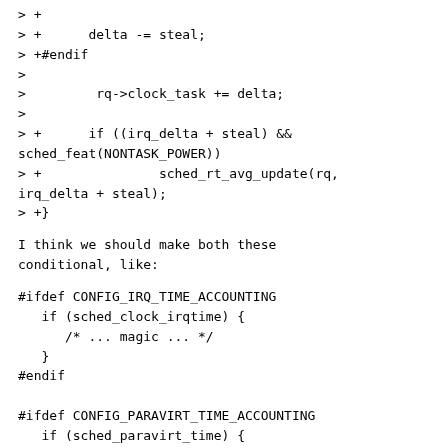> +
> +      delta -= steal;
> +#endif
>
>         rq->clock_task += delta;
>
> +      if ((irq_delta + steal) &&
sched_feat(NONTASK_POWER))
> +               sched_rt_avg_update(rq,
irq_delta + steal);
> +}
I think we should make both these
conditional, like:
#ifdef CONFIG_IRQ_TIME_ACCOUNTING
   if (sched_clock_irqtime) {
      /* ... magic ... */
   }
#endif

#ifdef CONFIG_PARAVIRT_TIME_ACCOUNTING
   if (sched_paravirt_time) {
      /* ... magic ... */
   }
#endif
Once the jump-label stuff gets a bit better
we could use the if